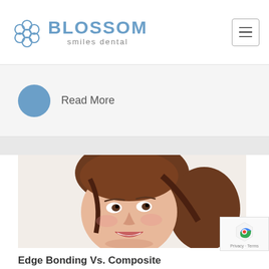[Figure (logo): Blossom Smiles Dental logo with flower icon and text]
Read More
[Figure (photo): Smiling young woman with brown hair looking up, dental clinic promotional photo]
Edge Bonding Vs. Composite